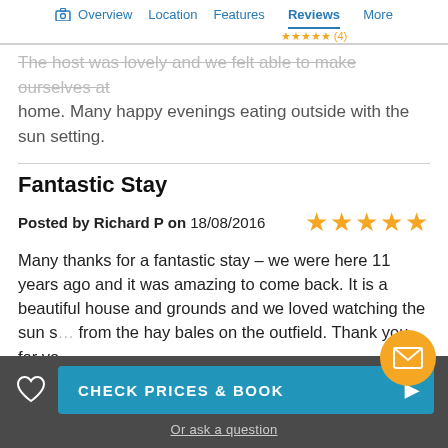Overview  Location  Features  Reviews  More  ★★★★★ (4)
The host was lovely and we felt able to make ourselves at home. Many happy evenings eating outside with the sun setting.
Fantastic Stay
Posted by Richard P on 18/08/2016  ★★★★★
Many thanks for a fantastic stay – we were here 11 years ago and it was amazing to come back. It is a beautiful house and grounds and we loved watching the sun s… from the hay bales on the outfield. Thank you for yo…
CHECK PRICES & BOOK   Or ask a question